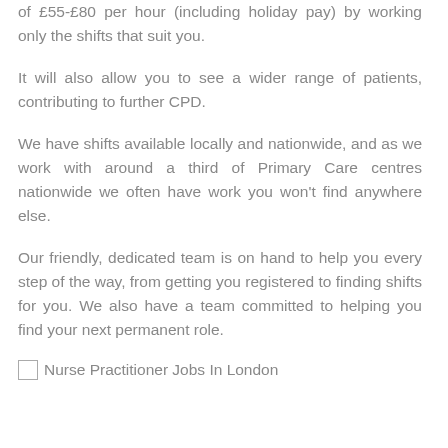of £55-£80 per hour (including holiday pay) by working only the shifts that suit you.
It will also allow you to see a wider range of patients, contributing to further CPD.
We have shifts available locally and nationwide, and as we work with around a third of Primary Care centres nationwide we often have work you won't find anywhere else.
Our friendly, dedicated team is on hand to help you every step of the way, from getting you registered to finding shifts for you. We also have a team committed to helping you find your next permanent role.
[Figure (photo): Broken/missing image placeholder with alt text: Nurse Practitioner Jobs In London]